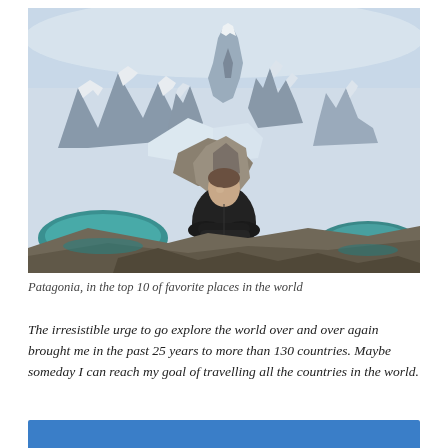[Figure (photo): A man with arms crossed standing in front of dramatic mountain peaks with snow, glaciers, and turquoise lakes in Patagonia]
Patagonia, in the top 10 of favorite places in the world
The irresistible urge to go explore the world over and over again brought me in the past 25 years to more than 130 countries. Maybe someday I can reach my goal of travelling all the countries in the world.